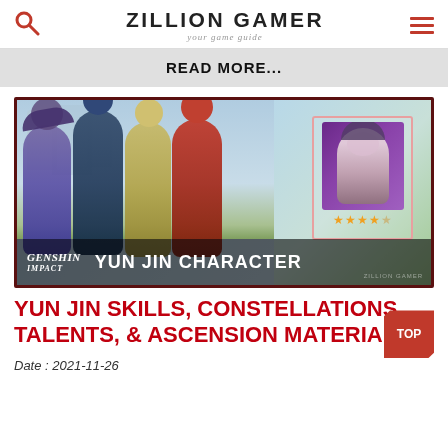ZILLION GAMER
your game guide
READ MORE...
[Figure (illustration): Genshin Impact banner image showing multiple anime-style characters with a character card for Yun Jin (4-star), showing a girl in opera costume with 4.5 stars rating. Text overlaid: GENSHIN IMPACT and YUN JIN CHARACTER. Watermark: ZILLION GAMER.]
YUN JIN SKILLS, CONSTELLATIONS, TALENTS, & ASCENSION MATERIALS
Date : 2021-11-26